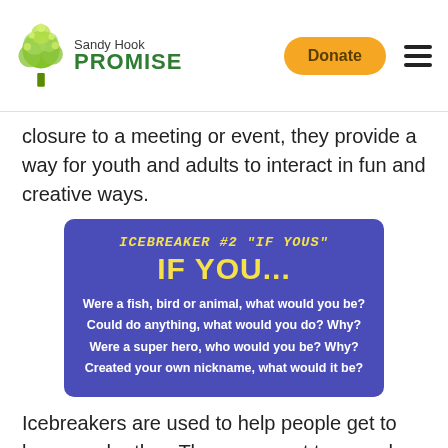Sandy Hook PROMISE
closure to a meeting or event, they provide a way for youth and adults to interact in fun and creative ways.
[Figure (other): Icebreaker #2 'IF YOUs' card on blue background. Title: IF YOU... Questions: Were a fish, bird or animal, what would you be? Could do anything, what would you do? Why? Were a super hero, who would you be? Why? Created your own nickname, what would it be?]
Icebreakers are used to help people get to know each other. They are great to use when your SAVE Promise Club interacts with classes or visits younger grades. This